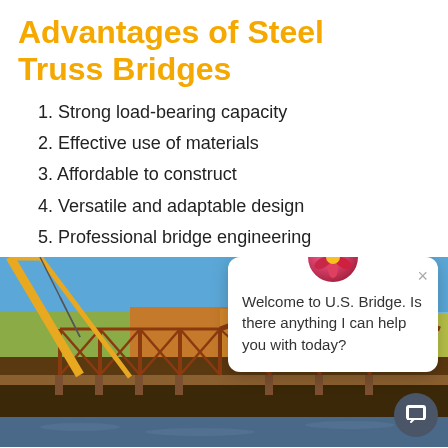Advantages of Steel Truss Bridges
1. Strong load-bearing capacity
2. Effective use of materials
3. Affordable to construct
4. Versatile and adaptable design
5. Professional bridge engineering
[Figure (photo): A steel truss bridge being installed with a crane, autumn trees in background, river below. A chat popup is overlaid showing a flower avatar and the message: Welcome to U.S. Bridge. Is there anything I can help you with today?]